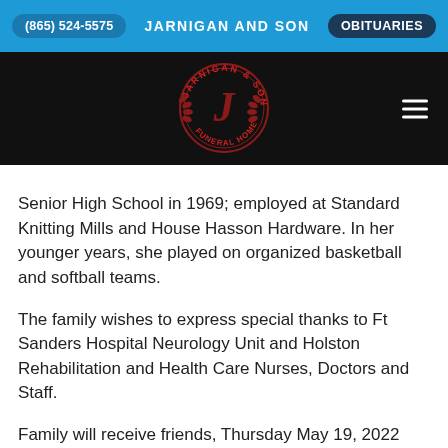(865) 524-5575   JARNIGAN AND SON   OBITUARIES
[Figure (logo): Jarnigan & Son circular logo with red laurel wreath and letter J on black background]
Senior High School in 1969; employed at Standard Knitting Mills and House Hasson Hardware. In her younger years, she played on organized basketball and softball teams.
The family wishes to express special thanks to Ft Sanders Hospital Neurology Unit and Holston Rehabilitation and Health Care Nurses, Doctors and Staff.
Family will receive friends, Thursday May 19, 2022 12:00 p.m. – 12:30 p.m., at Payne Avenue Missionary Baptist Church; Celebration of Life, 12:30 p.m., Reverend Richard S. Brown Jr., Officiating.
Interment, Knoxville National Cemetery.